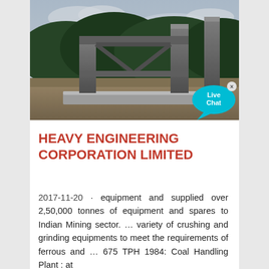[Figure (photo): Outdoor construction photo showing a concrete framework structure with pillars and cross-beams on a leveled site, with forested hills in the background and an overcast sky. A 'Live Chat' bubble overlay appears in the bottom-right corner of the image.]
HEAVY ENGINEERING CORPORATION LIMITED
2017-11-20 · equipment and supplied over 2,50,000 tonnes of equipment and spares to Indian Mining sector. … variety of crushing and grinding equipments to meet the requirements of ferrous and … 675 TPH 1984: Coal Handling Plant : at